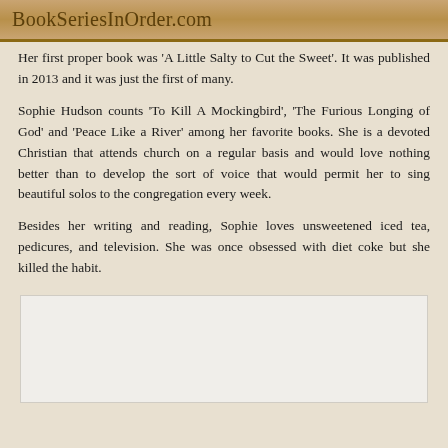BookSeriesInOrder.com
Her first proper book was 'A Little Salty to Cut the Sweet'. It was published in 2013 and it was just the first of many.
Sophie Hudson counts 'To Kill A Mockingbird', 'The Furious Longing of God' and 'Peace Like a River' among her favorite books. She is a devoted Christian that attends church on a regular basis and would love nothing better than to develop the sort of voice that would permit her to sing beautiful solos to the congregation every week.
Besides her writing and reading, Sophie loves unsweetened iced tea, pedicures, and television. She was once obsessed with diet coke but she killed the habit.
[Figure (other): White/light grey rectangular box placeholder image]